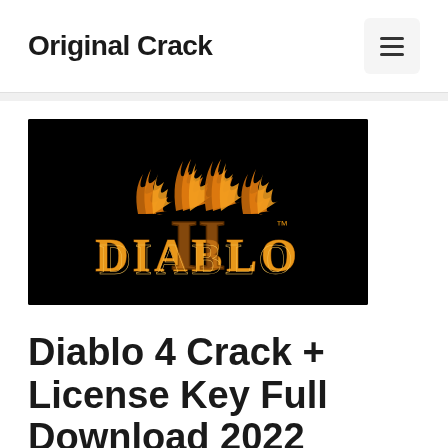Original Crack
[Figure (illustration): Diablo II game logo on black background with gold flaming text]
Diablo 4 Crack + License Key Full Download 2022